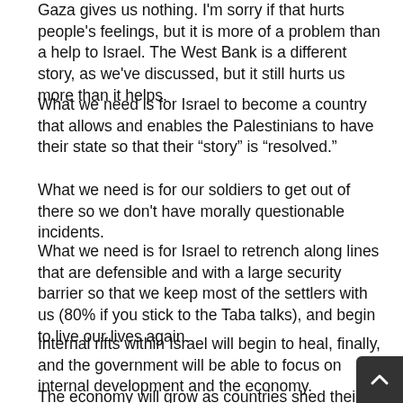Gaza gives us nothing. I'm sorry if that hurts people's feelings, but it is more of a problem than a help to Israel. The West Bank is a different story, as we've discussed, but it still hurts us more than it helps.
What we need is for Israel to become a country that allows and enables the Palestinians to have their state so that their “story” is “resolved.”
What we need is for our soldiers to get out of there so we don't have morally questionable incidents.
What we need is for Israel to retrench along lines that are defensible and with a large security barrier so that we keep most of the settlers with us (80% if you stick to the Taba talks), and begin to live our lives again.
Internal rifts within Israel will begin to heal, finally, and the government will be able to focus on internal development and the economy.
The economy will grow as countries shed their curren